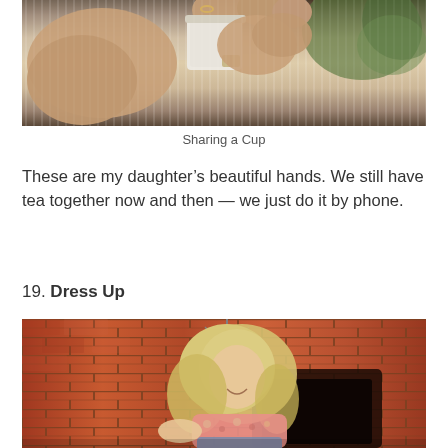[Figure (photo): Close-up photo of hands holding a white knit sweater/mug, with trees visible in background]
Sharing a Cup
These are my daughter’s beautiful hands. We still have tea together now and then — we just do it by phone.
19. Dress Up
[Figure (photo): A smiling older woman with blonde hair sitting in front of a brick fireplace wall with a starburst clock, wearing a floral top]